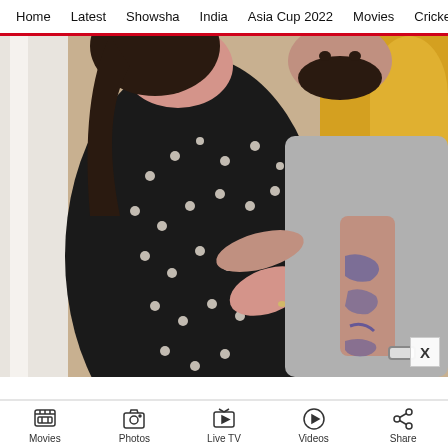Home | Latest | Showsha | India | Asia Cup 2022 | Movies | Cricket
[Figure (photo): A couple posing together. A woman wearing a black polka-dot dress is smiling, and a man with a beard wearing a grey t-shirt stands behind her with his arm around her. The man has a tattoo visible on his forearm.]
[Figure (infographic): Bottom navigation bar with icons and labels: Movies (clapperboard icon), Photos (camera icon), Live TV (TV icon), Videos (play circle icon), Share (share icon)]